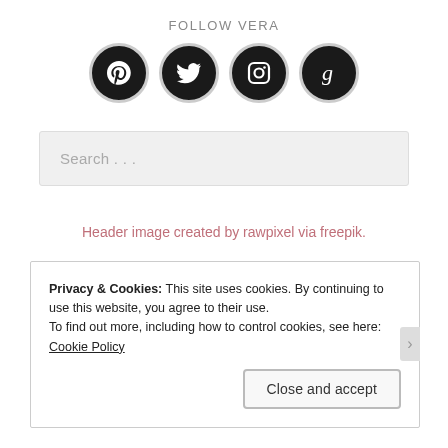FOLLOW VERA
[Figure (illustration): Four circular social media icons (Pinterest, Twitter, Instagram, Goodreads) in black circles with gray borders]
[Figure (screenshot): Search input box with placeholder text 'Search ...']
Header image created by rawpixel via freepik.
FOLLOW SABRINA
[Figure (illustration): Three partially visible circular social media icons in dark circles with gray borders]
Privacy & Cookies: This site uses cookies. By continuing to use this website, you agree to their use.
To find out more, including how to control cookies, see here: Cookie Policy
Close and accept